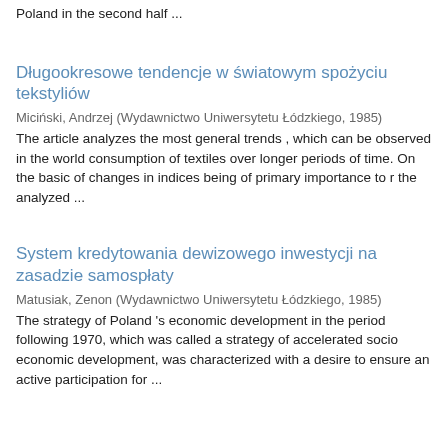Poland in the second half ...
Długookresowe tendencje w światowym spożyciu tekstyliów
Miciński, Andrzej (Wydawnictwo Uniwersytetu Łódzkiego, 1985)
The article analyzes the most general trends , which can be observed in the world consumption of textiles over longer periods of time. On the basic of changes in indices being of primary importance to r the analyzed ...
System kredytowania dewizowego inwestycji na zasadzie samospłaty
Matusiak, Zenon (Wydawnictwo Uniwersytetu Łódzkiego, 1985)
The strategy of Poland 's economic development in the period following 1970, which was called a strategy of accelerated socio economic development, was characterized with a desire to ensure an active participation for ...